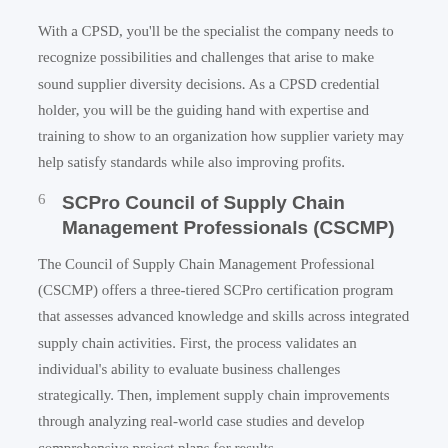With a CPSD, you'll be the specialist the company needs to recognize possibilities and challenges that arise to make sound supplier diversity decisions. As a CPSD credential holder, you will be the guiding hand with expertise and training to show to an organization how supplier variety may help satisfy standards while also improving profits.
6. SCPro Council of Supply Chain Management Professionals (CSCMP)
The Council of Supply Chain Management Professional (CSCMP) offers a three-tiered SCPro certification program that assesses advanced knowledge and skills across integrated supply chain activities. First, the process validates an individual's ability to evaluate business challenges strategically. Then, implement supply chain improvements through analyzing real-world case studies and develop comprehensive project plans for results.
Each level of the SCPro certification has specific eligibility